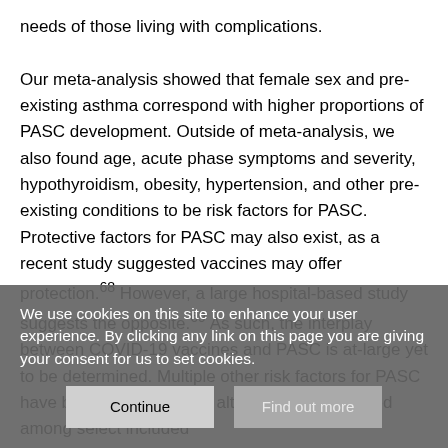needs of those living with complications. Our meta-analysis showed that female sex and pre-existing asthma correspond with higher proportions of PASC development. Outside of meta-analysis, we also found age, acute phase symptoms and severity, hypothyroidism, obesity, hypertension, and other pre-existing conditions to be risk factors for PASC. Protective factors for PASC may also exist, as a recent study suggested vaccines may offer protection.68 However, a large hospital-based study suggests the opposite.69 As such, the interplay between COVID-19 vaccines and PASC is at-large yet to be determined. Multiple other risk factors for PASC have been detected, and, although encompassed among select included
We use cookies on this site to enhance your user experience. By clicking any link on this page you are giving your consent for us to set cookies.